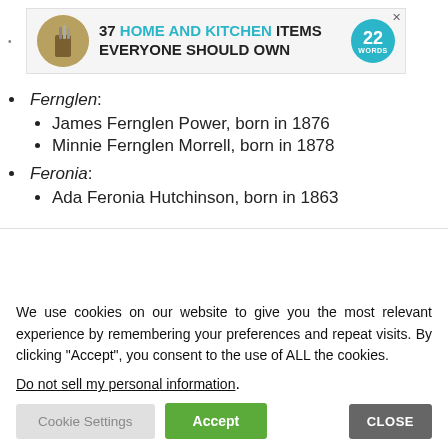[Figure (other): Advertisement banner: '37 HOME AND KITCHEN ITEMS EVERYONE SHOULD OWN' with 22 Words logo badge]
Fernglen:
James Fernglen Power, born in 1876
Minnie Fernglen Morrell, born in 1878
Feronia:
Ada Feronia Hutchinson, born in 1863
We use cookies on our website to give you the most relevant experience by remembering your preferences and repeat visits. By clicking “Accept”, you consent to the use of ALL the cookies.
Do not sell my personal information.